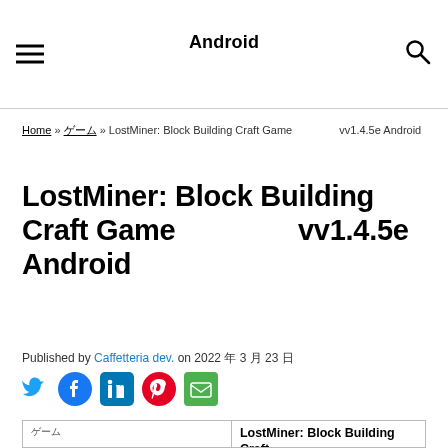Android
Home » ゲーム » LostMiner: Block Building Craft Game 　　　vv1.4.5e Android
LostMiner: Block Building Craft Game 　　　vv1.4.5e Android
Published by Caffetteria dev. on 2022 年 3 月 23 日
[Figure (infographic): Social share icons: Twitter (blue bird), Facebook (blue circle with f), LinkedIn (blue square with in), Pinterest (red circle with P), Email (green envelope)]
|  | LostMiner: Block Building Craft... |
| --- | --- |
| ゲーム |  |